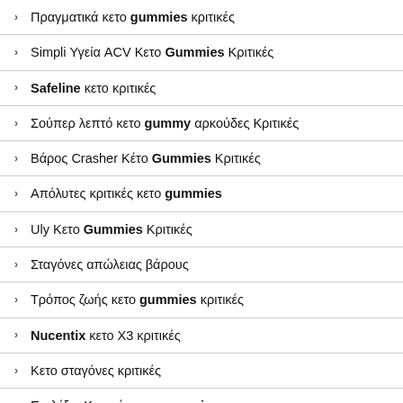Πραγματικά κετο gummies κριτικές
Simpli Υγεία ACV Κετο Gummies Κριτικές
Safeline κετο κριτικές
Σούπερ λεπτό κετο gummy αρκούδες Κριτικές
Βάρος Crasher Κέτο Gummies Κριτικές
Απόλυτες κριτικές κετο gummies
Uly Κετο Gummies Κριτικές
Σταγόνες απώλειας βάρους
Τρόπος ζωής κετο gummies κριτικές
Nucentix κετο X3 κριτικές
Κετο σταγόνες κριτικές
Επιλέξτε Κριτικές κετο gummies
Ketosium ACV Gummies Κριτικές